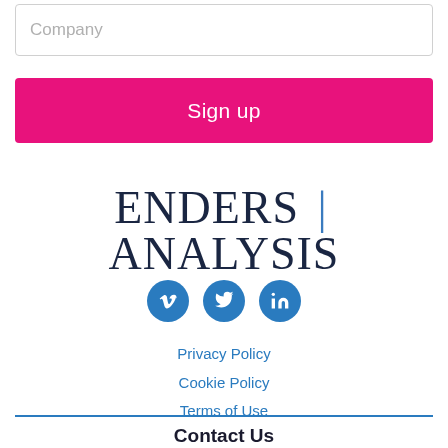Company
Sign up
[Figure (logo): Enders Analysis logo with text ENDERS | ANALYSIS in dark navy serif font with blue vertical bar separator]
[Figure (illustration): Three circular social media icons: Vimeo, Twitter, LinkedIn — all in blue circles]
Privacy Policy
Cookie Policy
Terms of Use
Contact Us